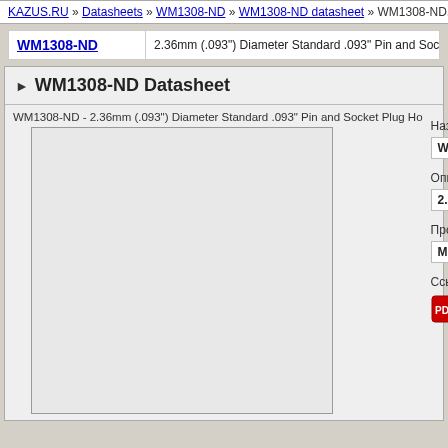KAZUS.RU » Datasheets » WM1308-ND » WM1308-ND datasheet » WM1308-ND.P
| Part Number | Description |
| --- | --- |
| WM1308-ND | 2.36mm (.093") Diameter Standard .093" Pin and Socket Plug Housi |
WM1308-ND Datasheet
WM1308-ND - 2.36mm (.093") Diameter Standard .093" Pin and Socket Plug Ho
[Figure (screenshot): Blank datasheet preview image area]
Название/Part N
WM1308-ND
Описание/Descri
2.36mm (.093") D
Производитель/М
Molex Electroni
Ссылка на datas
~/WM1